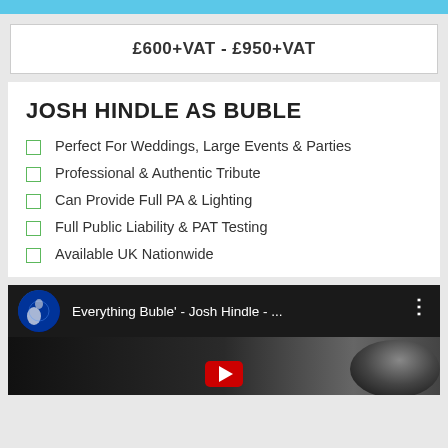£600+VAT - £950+VAT
JOSH HINDLE AS BUBLE
Perfect For Weddings, Large Events & Parties
Professional & Authentic Tribute
Can Provide Full PA & Lighting
Full Public Liability & PAT Testing
Available UK Nationwide
[Figure (screenshot): YouTube video thumbnail showing 'Everything Buble' - Josh Hindle - ...' with a circular profile image of a performer on stage with blue lighting, a dark video background with a partially visible person, and YouTube play button.]